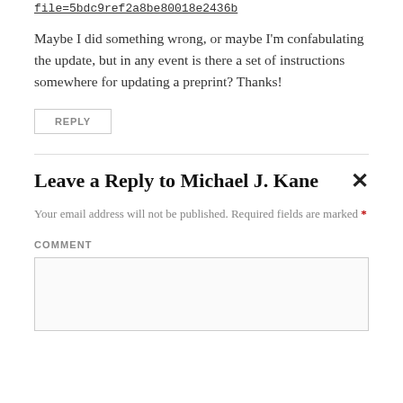file=5bdc9ref2a8be80018e2436b
Maybe I did something wrong, or maybe I'm confabulating the update, but in any event is there a set of instructions somewhere for updating a preprint? Thanks!
REPLY
Leave a Reply to Michael J. Kane
Your email address will not be published. Required fields are marked *
COMMENT